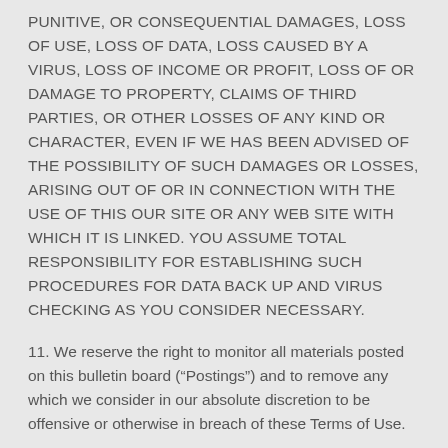PUNITIVE, OR CONSEQUENTIAL DAMAGES, LOSS OF USE, LOSS OF DATA, LOSS CAUSED BY A VIRUS, LOSS OF INCOME OR PROFIT, LOSS OF OR DAMAGE TO PROPERTY, CLAIMS OF THIRD PARTIES, OR OTHER LOSSES OF ANY KIND OR CHARACTER, EVEN IF WE HAS BEEN ADVISED OF THE POSSIBILITY OF SUCH DAMAGES OR LOSSES, ARISING OUT OF OR IN CONNECTION WITH THE USE OF THIS OUR SITE OR ANY WEB SITE WITH WHICH IT IS LINKED. YOU ASSUME TOTAL RESPONSIBILITY FOR ESTABLISHING SUCH PROCEDURES FOR DATA BACK UP AND VIRUS CHECKING AS YOU CONSIDER NECESSARY.
11. We reserve the right to monitor all materials posted on this bulletin board (“Postings”) and to remove any which we consider in our absolute discretion to be offensive or otherwise in breach of these Terms of Use.